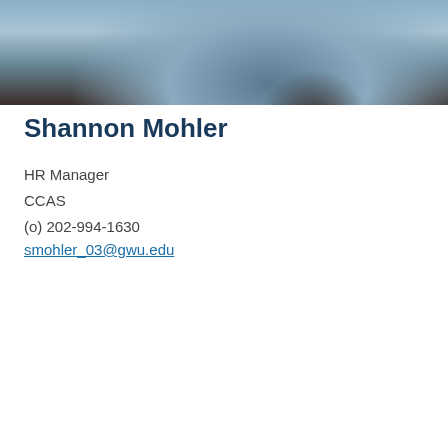[Figure (photo): A person with dark hair viewed from behind, wearing a grey top, with blurred background.]
Shannon Mohler
HR Manager
CCAS
(o) 202-994-1630
smohler_03@gwu.edu
[Figure (photo): Partial cropped photo at bottom of profile card area.]
This site uses cookies to offer you a better browsing experience. Visit GW's Website Privacy Notice to learn more about how GW uses cookies.

I accept.